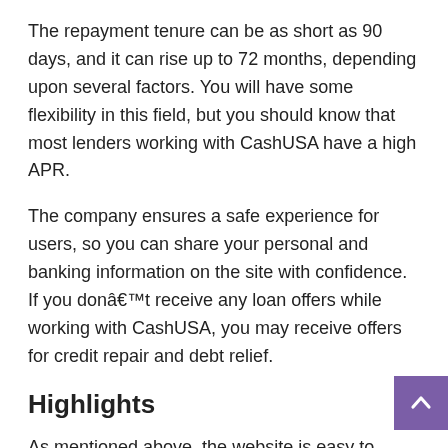The repayment tenure can be as short as 90 days, and it can rise up to 72 months, depending upon several factors. You will have some flexibility in this field, but you should know that most lenders working with CashUSA have a high APR.
The company ensures a safe experience for users, so you can share your personal and banking information on the site with confidence. If you donâ€™t receive any loan offers while working with CashUSA, you may receive offers for credit repair and debt relief.
Highlights
As mentioned above, the website is easy to navigate, and first-time users can also apply for a loan without facing any issues. However, if you face any issues on the site, you can reach out to the customer support staff, and the trained staff members will guide you with the best solutions. The only problem is that they donâ€™t offer 24/7 support service, so you may have to wa get a response.